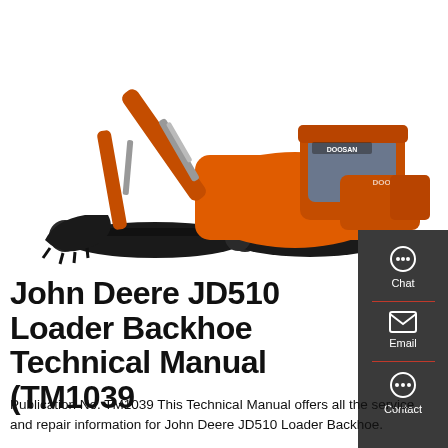[Figure (photo): Orange Doosan excavator/backhoe on white background, shown in profile with arm extended and bucket lowered to the left.]
John Deere JD510 Loader Backhoe Technical Manual (TM1039
Publication No. TM1039 This Technical Manual offers all the service and repair information for John Deere JD510 Loader Backhoe.